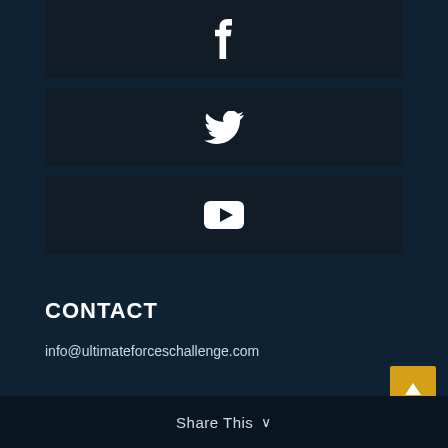[Figure (other): Facebook icon (white 'f' letter) centered in a dark bar]
[Figure (other): Twitter bird icon centered in a dark bar]
[Figure (other): YouTube play button icon centered in a dark bar]
CONTACT
info@ultimateforceschallenge.com
Share This ∨